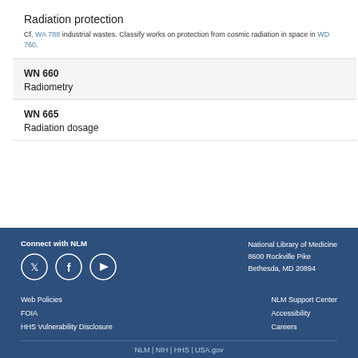Radiation protection
Cf. WA 788 industrial wastes. Classify works on protection from cosmic radiation in space in WD 760.
WN 660
Radiometry
WN 665
Radiation dosage
Connect with NLM | National Library of Medicine 8600 Rockville Pike Bethesda, MD 20894 | Web Policies | FOIA | HHS Vulnerability Disclosure | NLM Support Center | Accessibility | Careers | NLM | NIH | HHS | USA.gov